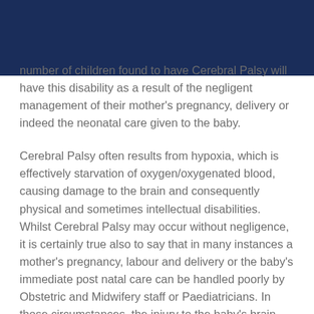number of children found to have Cerebral Palsy will have this disability as a result of the negligent management of their mother's pregnancy, delivery or indeed the neonatal care given to the baby.
Cerebral Palsy often results from hypoxia, which is effectively starvation of oxygen/oxygenated blood, causing damage to the brain and consequently physical and sometimes intellectual disabilities. Whilst Cerebral Palsy may occur without negligence, it is certainly true also to say that in many instances a mother's pregnancy, labour and delivery or the baby's immediate post natal care can be handled poorly by Obstetric and Midwifery staff or Paediatricians. In those circumstances, the injury to the baby's brain could often have been avoided